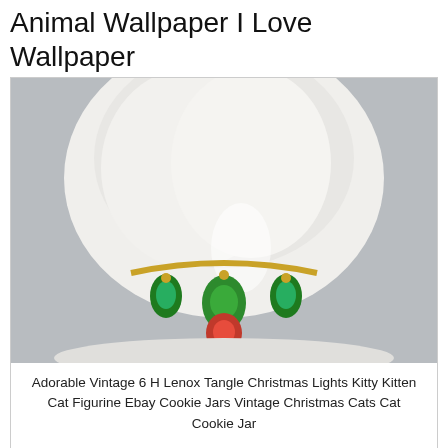Animal Wallpaper I Love Wallpaper
[Figure (photo): White ceramic cat figurine with gold necklace holding green and red Christmas light ornaments, on gray background]
Adorable Vintage 6 H Lenox Tangle Christmas Lights Kitty Kitten Cat Figurine Ebay Cookie Jars Vintage Christmas Cats Cat Cookie Jar
[Figure (photo): Colorful poinsettia plants with red, white and pink blooms with dark green leaves in a greenhouse or garden setting]